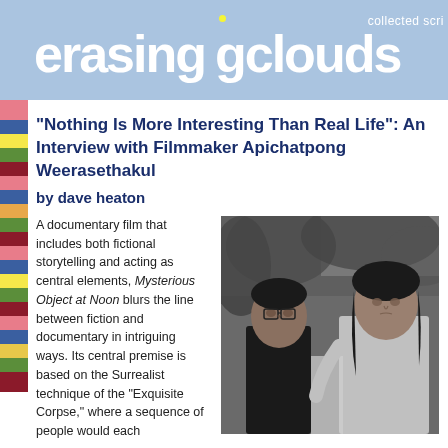erasing clouds · collected scri
"Nothing Is More Interesting Than Real Life": An Interview with Filmmaker Apichatpong Weerasethakul
by dave heaton
A documentary film that includes both fictional storytelling and acting as central elements, Mysterious Object at Noon blurs the line between fiction and documentary in intriguing ways. Its central premise is based on the Surrealist technique of the "Exquisite Corpse," where a sequence of people would each contribute to the creation of a story, without knowing mu
[Figure (photo): Black and white photo of two people standing outdoors in a forested area. A man on the left and a woman on the right, both looking slightly off-camera.]